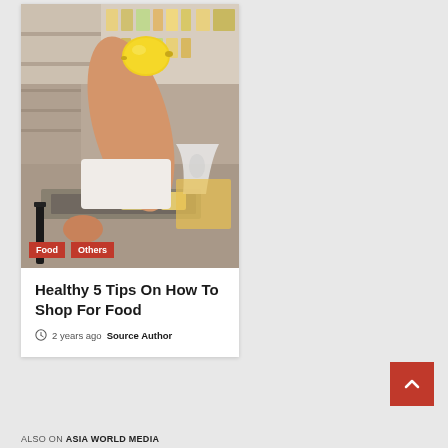[Figure (photo): Person holding a lemon/yellow fruit at a grocery store, with shelves of products in the background and a shopping basket visible.]
Food
Others
Healthy 5 Tips On How To Shop For Food
2 years ago  Source Author
ALSO ON ASIA WORLD MEDIA